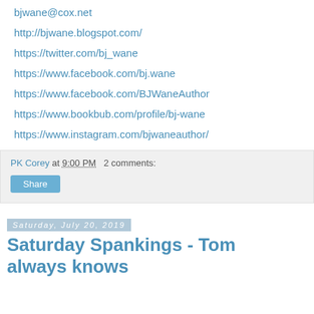bjwane@cox.net
http://bjwane.blogspot.com/
https://twitter.com/bj_wane
https://www.facebook.com/bj.wane
https://www.facebook.com/BJWaneAuthor
https://www.bookbub.com/profile/bj-wane
https://www.instagram.com/bjwaneauthor/
PK Corey at 9:00 PM   2 comments:
Share
Saturday, July 20, 2019
Saturday Spankings - Tom always knows